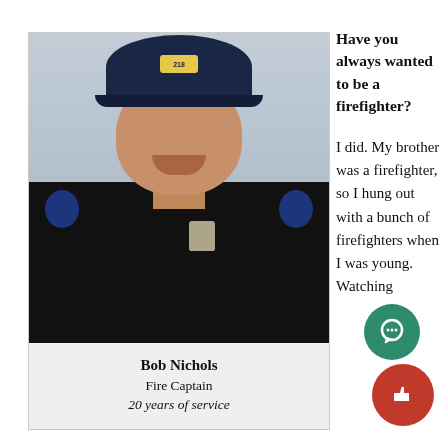[Figure (photo): Headshot of a firefighter in dark uniform and navy blue cap with badge number 218, smiling at the camera]
Bob Nichols
Fire Captain
20 years of service
Have you always wanted to be a firefighter?
I did. My brother was a firefighter, so I hung out with a bunch of firefighters when I was young. Watching